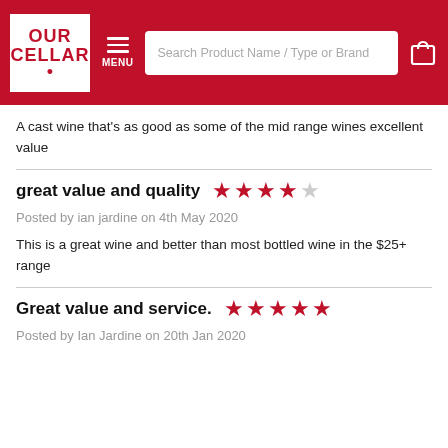OUR CELLAR — MENU — Search Product Name / Type or Brand
A cast wine that's as good as some of the mid range wines excellent value
great value and quality — 4 out of 5 stars
Posted by ian jardine on 4th May 2020
This is a great wine and better than most bottled wine in the $25+ range
Great value and service. — 5 out of 5 stars
Posted by Ian Jardine on 20th Jan 2020